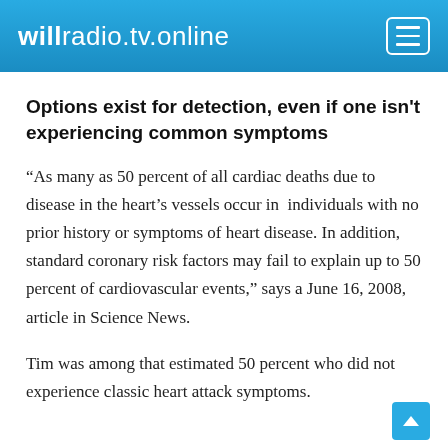willradio.tv.online
Options exist for detection, even if one isn't experiencing common symptoms
“As many as 50 percent of all cardiac deaths due to disease in the heart’s vessels occur in  individuals with no prior history or symptoms of heart disease. In addition, standard coronary risk factors may fail to explain up to 50 percent of cardiovascular events,” says a June 16, 2008, article in Science News.
Tim was among that estimated 50 percent who did not experience classic heart attack symptoms.